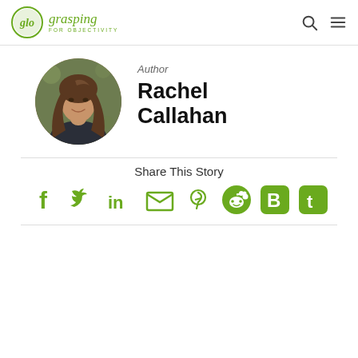[Figure (logo): glo Grasping For Objectivity logo with green circle and italic text]
Author
[Figure (photo): Circular headshot photo of Rachel Callahan, a woman with long brown hair]
Rachel Callahan
Share This Story
[Figure (infographic): Social share icons: Facebook, Twitter, LinkedIn, Email, Pinterest, Reddit, Blogger, Tumblr — all in green]